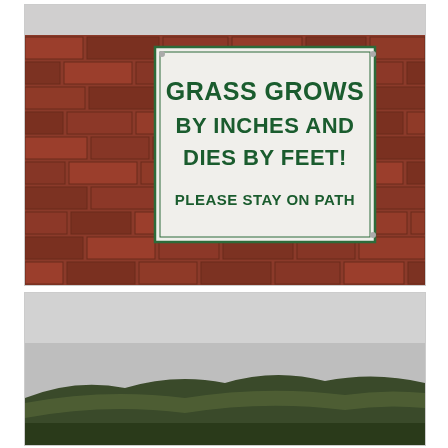[Figure (photo): A white rectangular sign mounted on a red brick wall. The sign reads: 'GRASS GROWS BY INCHES AND DIES BY FEET! PLEASE STAY ON PATH' in dark green bold capital letters.]
[Figure (photo): An outdoor landscape photograph showing a grey overcast sky above low green hills or moorland in the distance.]